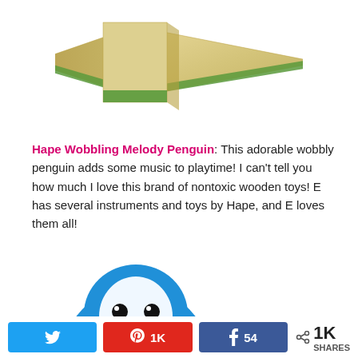[Figure (photo): Wooden star/airplane shape toy with light wood color and green accent stripe, partially visible at top of page]
Hape Wobbling Melody Penguin: This adorable wobbly penguin adds some music to playtime! I can't tell you how much I love this brand of nontoxic wooden toys! E has several instruments and toys by Hape, and E loves them all!
[Figure (photo): Blue and white wobbling penguin toy with a round white face, black eyes, orange beak, orange cheek dots, and colorful music note decorations on its belly]
Twitter | Pinterest 1K | Facebook 54 | < 1K SHARES